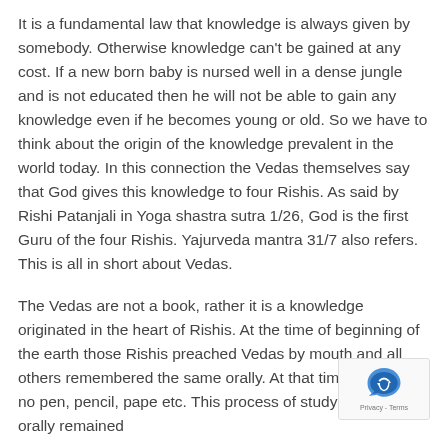It is a fundamental law that knowledge is always given by somebody. Otherwise knowledge can't be gained at any cost. If a new born baby is nursed well in a dense jungle and is not educated then he will not be able to gain any knowledge even if he becomes young or old. So we have to think about the origin of the knowledge prevalent in the world today. In this connection the Vedas themselves say that God gives this knowledge to four Rishis. As said by Rishi Patanjali in Yoga shastra sutra 1/26, God is the first Guru of the four Rishis. Yajurveda mantra 31/7 also refers. This is all in short about Vedas.
The Vedas are not a book, rather it is a knowledge originated in the heart of Rishis. At the time of beginning of the earth those Rishis preached Vedas by mouth and all others remembered the same orally. At that time there was no pen, pencil, pape etc. This process of studying Vedas orally remained